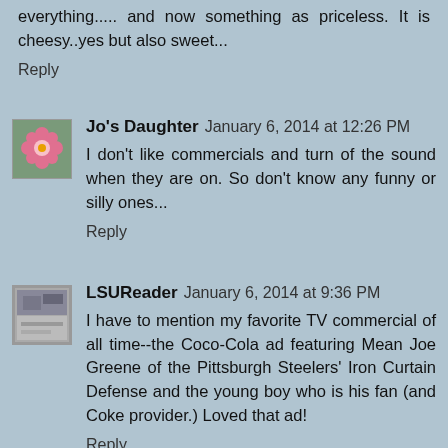everything..... and now something as priceless. It is cheesy..yes but also sweet...
Reply
Jo's Daughter  January 6, 2014 at 12:26 PM
I don't like commercials and turn of the sound when they are on. So don't know any funny or silly ones...
Reply
LSUReader  January 6, 2014 at 9:36 PM
I have to mention my favorite TV commercial of all time--the Coco-Cola ad featuring Mean Joe Greene of the Pittsburgh Steelers' Iron Curtain Defense and the young boy who is his fan (and Coke provider.) Loved that ad!
Reply
girlygirlhoosier52  January 7, 2014 at 4:50 AM